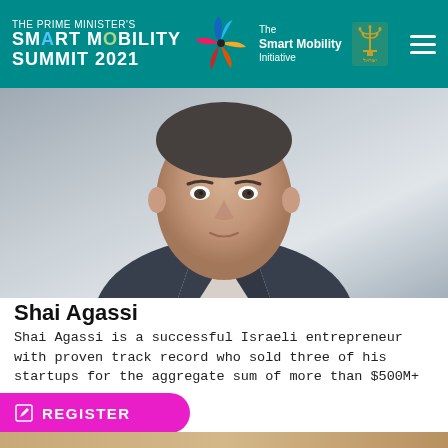THE PRIME MINISTER'S SMART MOBILITY SUMMIT 2021 | The Smart Mobility Initiative
[Figure (photo): Headshot photo of Shai Agassi, an Israeli entrepreneur, wearing a dark suit jacket and light shirt, blurred background]
Shai Agassi
Shai Agassi is a successful Israeli entrepreneur with proven track record who sold three of his startups for the aggregate sum of more than $500M+
[Figure (photo): Bottom strip showing top of another person's photo]